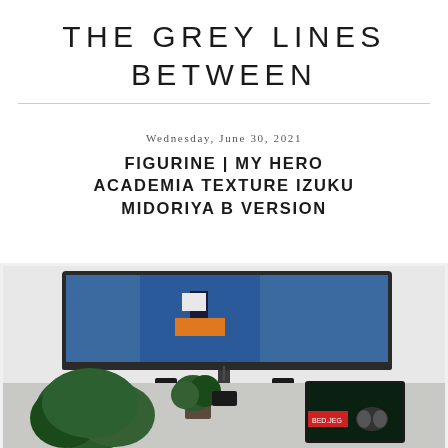THE GREY LINES BETWEEN
Wednesday, June 30, 2021
FIGURINE | MY HERO ACADEMIA TEXTURE IZUKU MIDORIYA B VERSION
[Figure (photo): Photo of a living room scene with a large TV mounted on the wall showing an anime character in a blue outfit, a plant, and what appears to be anime merchandise or screens on a shelf below.]